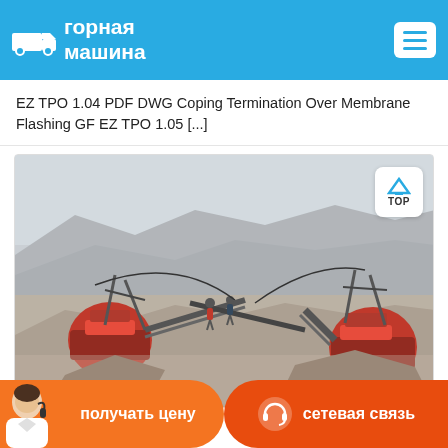горная машина
EZ TPO 1.04 PDF DWG Coping Termination Over Membrane Flashing GF EZ TPO 1.05 [...]
[Figure (photo): Mining quarry site with jaw crushers, conveyor belts, and workers amid dusty rocky terrain. Red crushing machinery visible in foreground.]
получать цену
сетевая связь